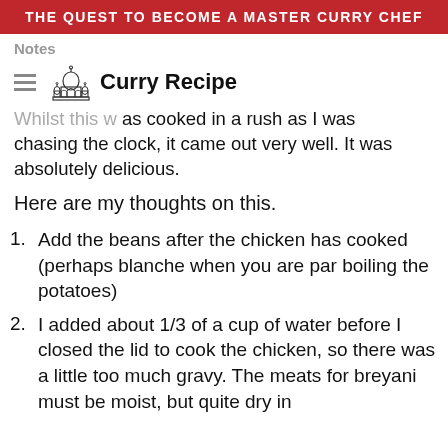THE QUEST TO BECOME A MASTER CURRY CHEF
Notes
[Figure (logo): Hamburger menu icon and Curry Recipe logo with Taj Mahal illustration and bold text 'Curry Recipe']
Whilst this was cooked in a rush as I was chasing the clock, it came out very well. It was absolutely delicious.
Here are my thoughts on this.
Add the beans after the chicken has cooked (perhaps blanche when you are par boiling the potatoes)
I added about 1/3 of a cup of water before I closed the lid to cook the chicken, so there was a little too much gravy. The meats for breyani must be moist, but quite dry in